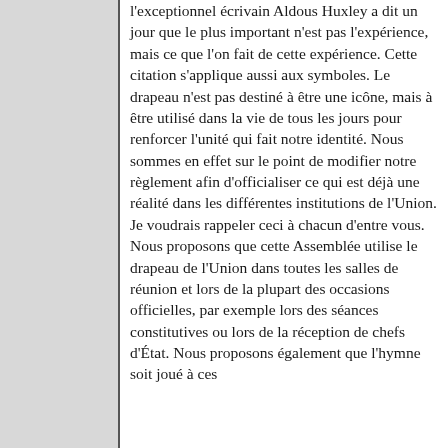l'exceptionnel écrivain Aldous Huxley a dit un jour que le plus important n'est pas l'expérience, mais ce que l'on fait de cette expérience. Cette citation s'applique aussi aux symboles. Le drapeau n'est pas destiné à être une icône, mais à être utilisé dans la vie de tous les jours pour renforcer l'unité qui fait notre identité. Nous sommes en effet sur le point de modifier notre règlement afin d'officialiser ce qui est déjà une réalité dans les différentes institutions de l'Union. Je voudrais rappeler ceci à chacun d'entre vous. Nous proposons que cette Assemblée utilise le drapeau de l'Union dans toutes les salles de réunion et lors de la plupart des occasions officielles, par exemple lors des séances constitutives ou lors de la réception de chefs d'État. Nous proposons également que l'hymne soit joué à ces